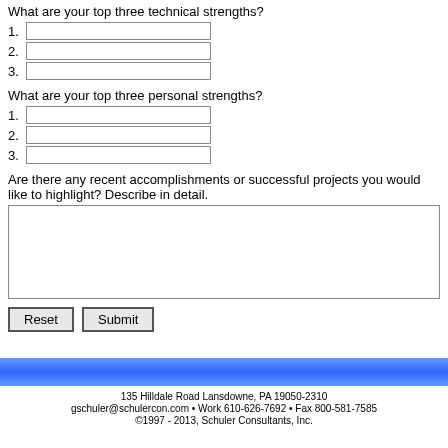What are your top three technical strengths?
1. [text input]
2. [text input]
3. [text input]
What are your top three personal strengths?
1. [text input]
2. [text input]
3. [text input]
Are there any recent accomplishments or successful projects you would like to highlight? Describe in detail.
[textarea]
Reset  Submit
135 Hilldale Road Lansdowne, PA 19050-2310
gschuler@schulercon.com • Work 610-626-7692 • Fax 800-581-7585
©1997 - 2013, Schuler Consultants, Inc.